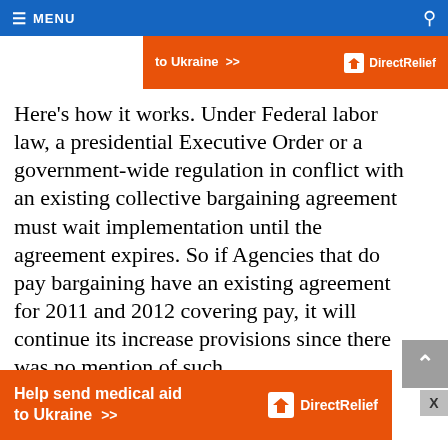MENU
[Figure (other): DirectRelief advertisement banner (top, partial) — Help send medical aid to Ukraine >>]
Here's how it works. Under Federal labor law, a presidential Executive Order or a government-wide regulation in conflict with an existing collective bargaining agreement must wait implementation until the agreement expires. So if Agencies that do pay bargaining have an existing agreement for 2011 and 2012 covering pay, it will continue its increase provisions since there was no mention of such
[Figure (other): DirectRelief advertisement banner (bottom) — Help send medical aid to Ukraine >> DirectRelief logo]